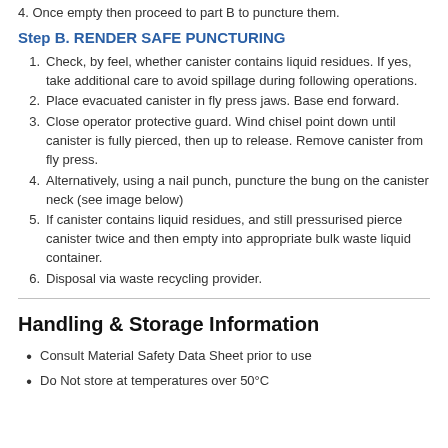4. Once empty then proceed to part B to puncture them.
Step B. RENDER SAFE PUNCTURING
1. Check, by feel, whether canister contains liquid residues. If yes, take additional care to avoid spillage during following operations.
2. Place evacuated canister in fly press jaws. Base end forward.
3. Close operator protective guard. Wind chisel point down until canister is fully pierced, then up to release. Remove canister from fly press.
4. Alternatively, using a nail punch, puncture the bung on the canister neck (see image below)
5. If canister contains liquid residues, and still pressurised pierce canister twice and then empty into appropriate bulk waste liquid container.
6. Disposal via waste recycling provider.
Handling & Storage Information
Consult Material Safety Data Sheet prior to use
Do Not store at temperatures over 50°C